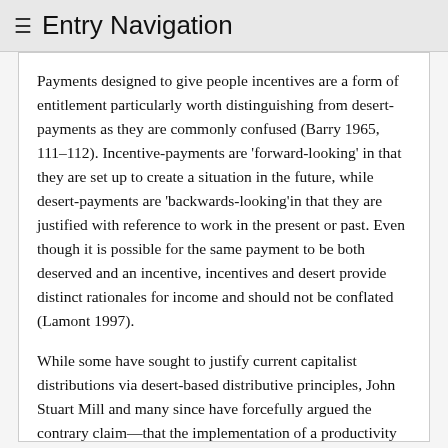≡ Entry Navigation
Payments designed to give people incentives are a form of entitlement particularly worth distinguishing from desert-payments as they are commonly confused (Barry 1965, 111–112). Incentive-payments are 'forward-looking' in that they are set up to create a situation in the future, while desert-payments are 'backwards-looking'in that they are justified with reference to work in the present or past. Even though it is possible for the same payment to be both deserved and an incentive, incentives and desert provide distinct rationales for income and should not be conflated (Lamont 1997).
While some have sought to justify current capitalist distributions via desert-based distributive principles, John Stuart Mill and many since have forcefully argued the contrary claim—that the implementation of a productivity principle would involve dramatic changes in modern market economies and would greatly reduce the inequalities characteristic of them. It is important to note, though, that contemporary desert-based principles are